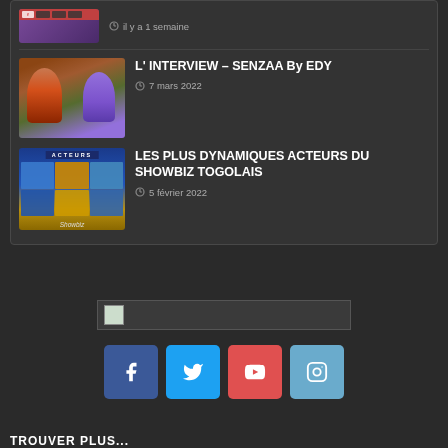[Figure (screenshot): Top partially visible article thumbnail with social media branding and date text (il y a 1 semaine)]
il y a 1 semaine
[Figure (photo): Two women in colorful clothing for interview article thumbnail]
L' INTERVIEW – SENZAA By EDY
7 mars 2022
[Figure (photo): Collage of showbiz personalities labeled ACTEURS with blue and gold background]
LES PLUS DYNAMIQUES ACTEURS DU SHOWBIZ TOGOLAIS
5 février 2022
[Figure (logo): Broken image logo bar placeholder]
[Figure (infographic): Social media icons: Facebook (blue), Twitter (cyan), YouTube (red), Instagram (light blue)]
TROUVER PLUS...